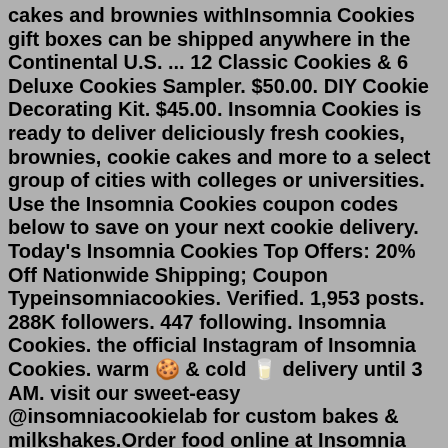cakes and brownies withInsomnia Cookies gift boxes can be shipped anywhere in the Continental U.S. ... 12 Classic Cookies & 6 Deluxe Cookies Sampler. $50.00. DIY Cookie Decorating Kit. $45.00. Insomnia Cookies is ready to deliver deliciously fresh cookies, brownies, cookie cakes and more to a select group of cities with colleges or universities. Use the Insomnia Cookies coupon codes below to save on your next cookie delivery. Today's Insomnia Cookies Top Offers: 20% Off Nationwide Shipping; Coupon Typeinsomniacookies. Verified. 1,953 posts. 288K followers. 447 following. Insomnia Cookies. the official Instagram of Insomnia Cookies. warm 🍪 & cold 🥛 delivery until 3 AM. visit our sweet-easy @insomniacookielab for custom bakes & milkshakes.Order food online at Insomnia Cookies, Athens with Tripadvisor: See 31 unbiased reviews of Insomnia Cookies, ranked #28 on Tripadvisor among 111 restaurants in Athens.Warm. Delicious. Delivered. Insomnia Cookies specializes in delivering warm, delicious cookies right to your door - daily until 3 AM